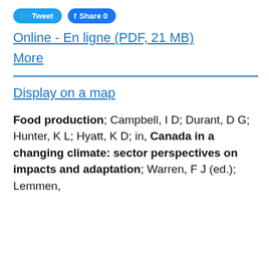[Figure (other): Tweet and Facebook Share buttons]
Online - En ligne (PDF, 21 MB)
More
Display on a map
Food production; Campbell, I D; Durant, D G; Hunter, K L; Hyatt, K D; in, Canada in a changing climate: sector perspectives on impacts and adaptation; Warren, F J (ed.); Lemmen,